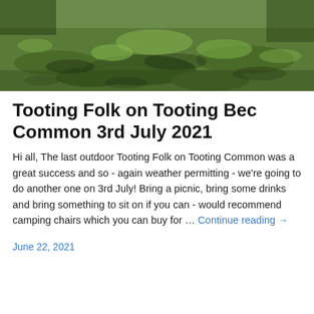[Figure (photo): Outdoor photo of a grassy common area with trees casting shadows on the ground, taken in daylight.]
Tooting Folk on Tooting Bec Common 3rd July 2021
Hi all, The last outdoor Tooting Folk on Tooting Common was a great success and so - again weather permitting - we're going to do another one on 3rd July! Bring a picnic, bring some drinks and bring something to sit on if you can - would recommend camping chairs which you can buy for … Continue reading →
June 22, 2021